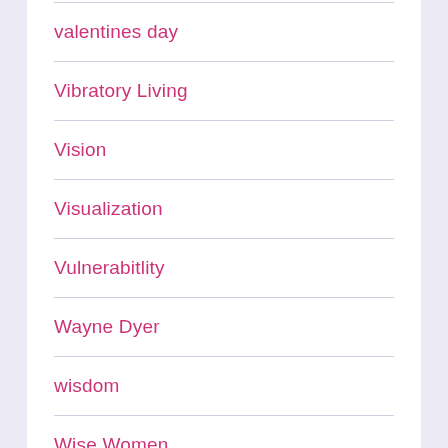valentines day
Vibratory Living
Vision
Visualization
Vulnerabitlity
Wayne Dyer
wisdom
Wise Women